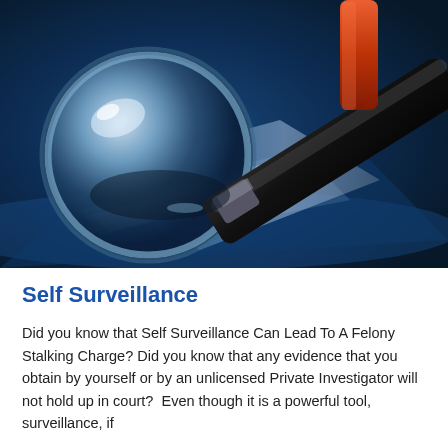[Figure (photo): Close-up photo of a magnifying glass and a gavel or pen on a dark blue background with light reflections. The magnifying glass dominates the left side; a dark handle extends diagonally to the lower right. There is a reddish object near the top-center.]
Self Surveillance
Did you know that Self Surveillance Can Lead To A Felony Stalking Charge? Did you know that any evidence that you obtain by yourself or by an unlicensed Private Investigator will not hold up in court?  Even though it is a powerful tool, surveillance, if